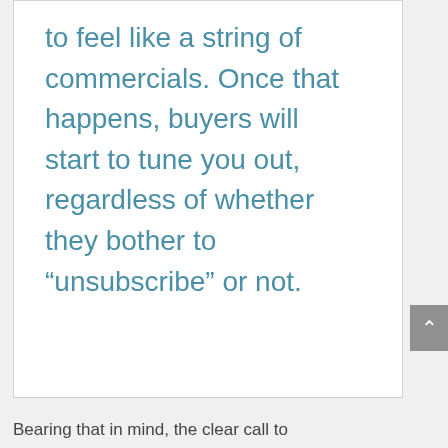to feel like a string of commercials. Once that happens, buyers will start to tune you out, regardless of whether they bother to “unsubscribe” or not.
Bearing that in mind, the clear call to